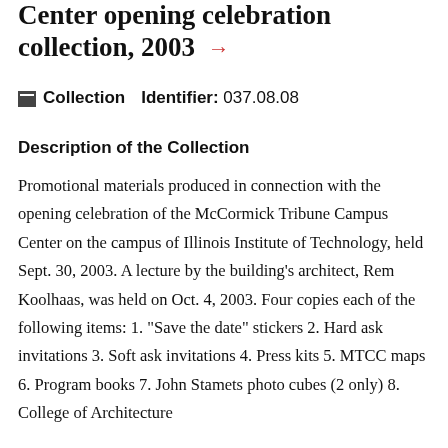Center opening celebration collection, 2003 →
■ Collection   Identifier: 037.08.08
Description of the Collection
Promotional materials produced in connection with the opening celebration of the McCormick Tribune Campus Center on the campus of Illinois Institute of Technology, held Sept. 30, 2003. A lecture by the building's architect, Rem Koolhaas, was held on Oct. 4, 2003. Four copies each of the following items: 1. "Save the date" stickers 2. Hard ask invitations 3. Soft ask invitations 4. Press kits 5. MTCC maps 6. Program books 7. John Stamets photo cubes (2 only) 8. College of Architecture